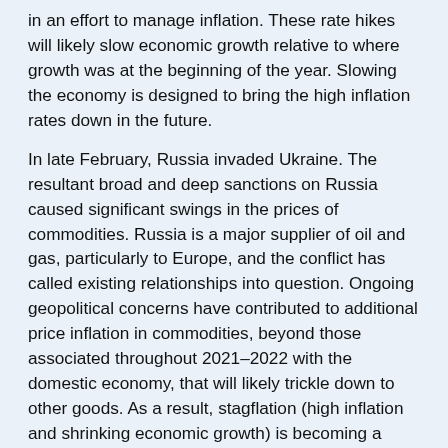in an effort to manage inflation. These rate hikes will likely slow economic growth relative to where growth was at the beginning of the year. Slowing the economy is designed to bring the high inflation rates down in the future.
In late February, Russia invaded Ukraine. The resultant broad and deep sanctions on Russia caused significant swings in the prices of commodities. Russia is a major supplier of oil and gas, particularly to Europe, and the conflict has called existing relationships into question. Ongoing geopolitical concerns have contributed to additional price inflation in commodities, beyond those associated throughout 2021–2022 with the domestic economy, that will likely trickle down to other goods. As a result, stagflation (high inflation and shrinking economic growth) is becoming a larger concern.
Equities were down for the first quarter. The S&P 500 Index fell about 4.6% and the NASDAQ 100 Index dropped 8.9%. Emerging markets and developed international markets lost about 7.1% and 1.7% respectively.